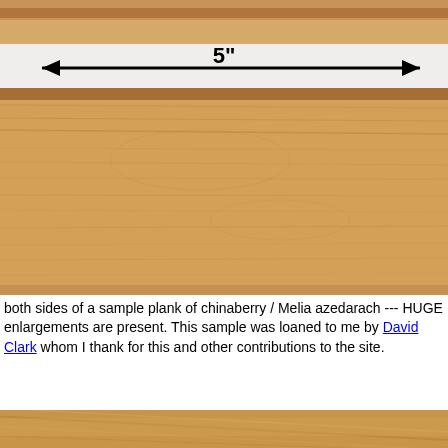[Figure (photo): Photo showing top edge of a chinaberry wood plank with a ruler/scale showing 5 inches width, on white background. The plank shows reddish-brown wood grain at the top edge. Below is the face of the plank showing golden/tan wood grain of chinaberry / Melia azedarach.]
both sides of a sample plank of chinaberry / Melia azedarach --- HUGE enlargements are present. This sample was loaned to me by David Clark whom I thank for this and other contributions to the site.
[Figure (photo): Bottom photo showing a close-up angled view of chinaberry wood grain, warm golden/tan tones.]